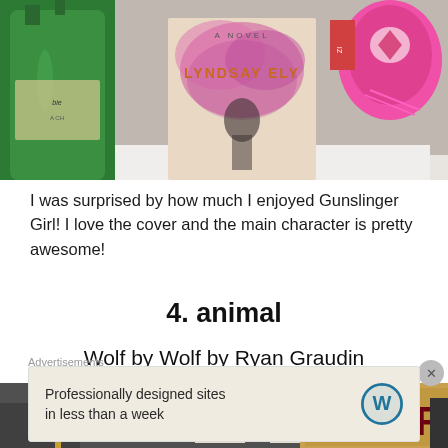[Figure (photo): Photo of a book titled 'Gunslinger Girl, A Novel by Lyndsay Ely' displayed among other objects including a green glass bottle on the left and a pink decorative item on the right. The book cover has pink spray paint and a figure on it.]
I was surprised by how much I enjoyed Gunslinger Girl! I love the cover and the main character is pretty awesome!
4. animal
Wolf by Wolf by Ryan Graudin
[Figure (photo): Photo of the book 'Wolf by Wolf' with large dark red text 'WOLF BY' visible on a brown/tan book cover, surrounded by other items on a shelf against a dark gray background. A small label 'J.K.' is visible.]
Advertisements
Professionally designed sites in less than a week